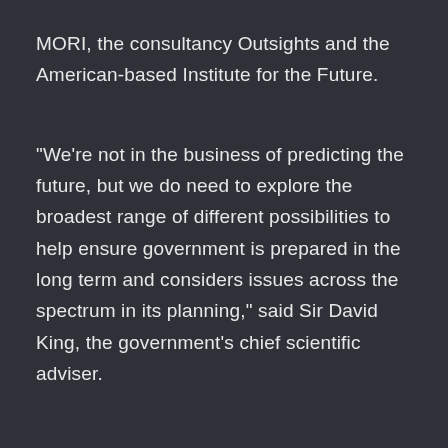MORI, the consultancy Outsights and the American-based Institute for the Future.
"We're not in the business of predicting the future, but we do need to explore the broadest range of different possibilities to help ensure government is prepared in the long term and considers issues across the spectrum in its planning," said Sir David King, the government's chief scientific adviser.
The papers, he added, "are aimed at stimulating debate and critical discussion to enhance government's short and long term policy and